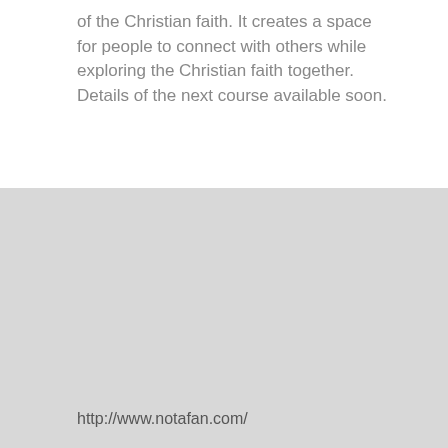of the Christian faith. It creates a space for people to connect with others while exploring the Christian faith together. Details of the next course available soon.
http://www.notafan.com/